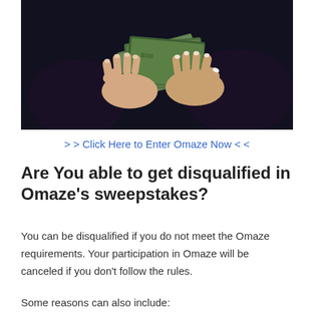[Figure (photo): Hands holding a fan of US dollar bills against a dark background]
> > Click Here to Enter Omaze Now < <
Are You able to get disqualified in Omaze's sweepstakes?
You can be disqualified if you do not meet the Omaze requirements. Your participation in Omaze will be canceled if you don't follow the rules.
Some reasons can also include: